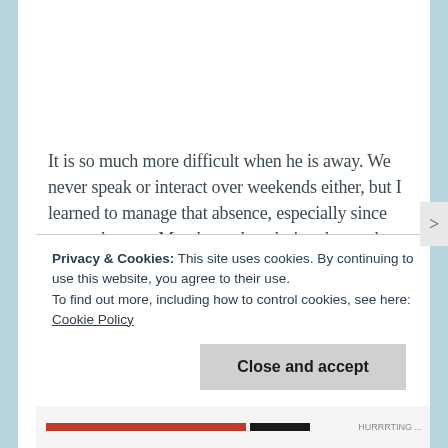It is so much more difficult when he is away. We never speak or interact over weekends either, but I learned to manage that absence, especially since we catch up on Monday or late during the week. But when he leaves town, it is torture.  He left a few days ago on a family trip, and he will be away on a working trip right after. The day before his
Privacy & Cookies: This site uses cookies. By continuing to use this website, you agree to their use.
To find out more, including how to control cookies, see here: Cookie Policy
Close and accept